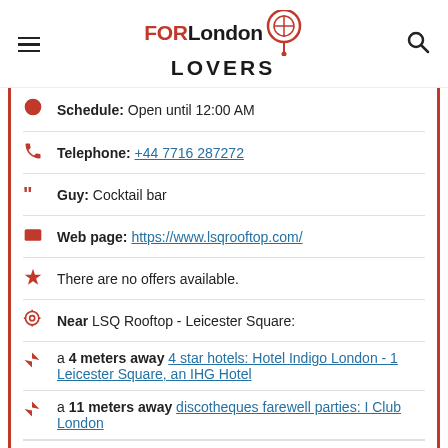FOR London LOVERS [logo with location pin icon] [hamburger menu] [search icon]
Schedule: Open until 12:00 AM
Telephone: +44 7716 287272
Guy: Cocktail bar
Web page: https://www.lsqrooftop.com/
There are no offers available.
Near LSQ Rooftop - Leicester Square:
a 4 meters away 4 star hotels: Hotel Indigo London - 1 Leicester Square, an IHG Hotel
a 11 meters away discotheques farewell parties: I Club London
Are you the owner of the business? PROMOTE